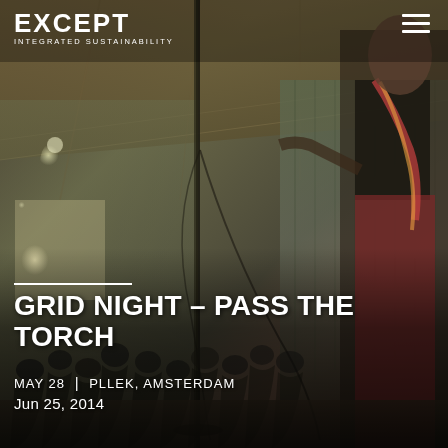[Figure (photo): Indoor event photo showing a woman speaking at a microphone on a stage in a large industrial-style venue with corrugated metal walls and ceiling. An audience sits in the background. The venue has large windows letting in natural light.]
EXCEPT INTEGRATED SUSTAINABILITY
GRID NIGHT – PASS THE TORCH
MAY 28 | PLLEK, AMSTERDAM
Jun 25, 2014